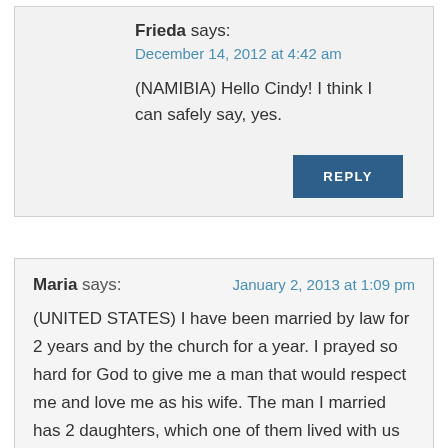Frieda says:
December 14, 2012 at 4:42 am
(NAMIBIA) Hello Cindy! I think I can safely say, yes.
Maria says:
January 2, 2013 at 1:09 pm
(UNITED STATES) I have been married by law for 2 years and by the church for a year. I prayed so hard for God to give me a man that would respect me and love me as his wife. The man I married has 2 daughters, which one of them lived with us at the age